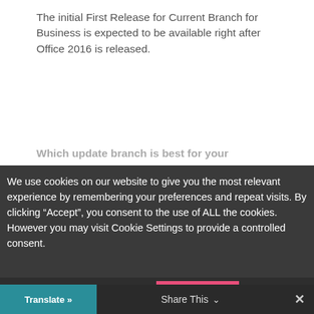The initial First Release for Current Branch for Business is expected to be available right after Office 2016 is released.
Which update branch is best for your
We use cookies on our website to give you the most relevant experience by remembering your preferences and repeat visits. By clicking “Accept”, you consent to the use of ALL the cookies. However you may visit Cookie Settings to provide a controlled consent.
Cookie settings
ACCEPT
Translate »
Share This
×